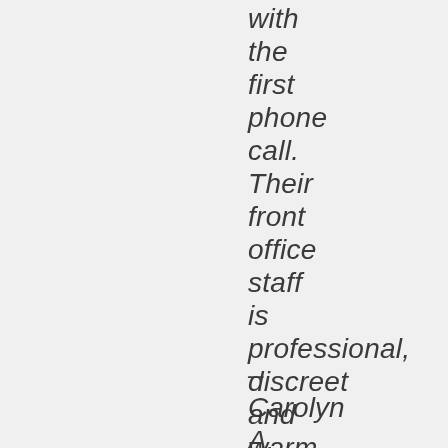with the first phone call. Their front office staff is professional, discreet and warm.
– Carolyn A.